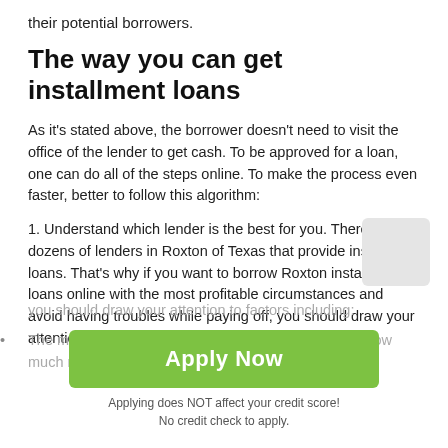their potential borrowers.
The way you can get installment loans
As it's stated above, the borrower doesn't need to visit the office of the lender to get cash. To be approved for a loan, one can do all of the steps online. To make the process even faster, better to follow this algorithm:
1. Understand which lender is the best for you. There're dozens of lenders in Roxton of Texas that provide installment loans. That's why if you want to borrow Roxton installment loans online with the most profitable circumstances and avoid having troubles while paying off, you should draw your attention to factors including:
The maximum sum the lender can offer (understand how much money you want to get to satisfy your needs).
[Figure (other): Green Apply Now button with disclaimer text: Applying does NOT affect your credit score! No credit check to apply.]